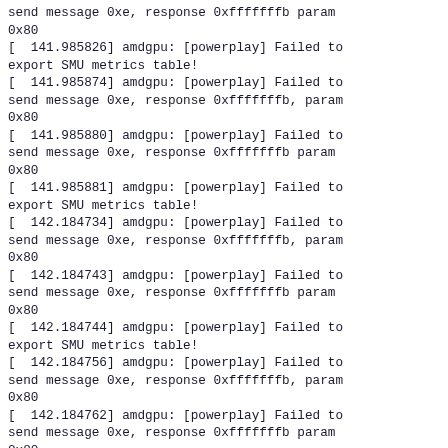send message 0xe, response 0xfffffffb param 0x80
[  141.985826] amdgpu: [powerplay] Failed to export SMU metrics table!
[  141.985874] amdgpu: [powerplay] Failed to send message 0xe, response 0xfffffffb, param 0x80
[  141.985880] amdgpu: [powerplay] Failed to send message 0xe, response 0xfffffffb param 0x80
[  141.985881] amdgpu: [powerplay] Failed to export SMU metrics table!
[  142.184734] amdgpu: [powerplay] Failed to send message 0xe, response 0xfffffffb, param 0x80
[  142.184743] amdgpu: [powerplay] Failed to send message 0xe, response 0xfffffffb param 0x80
[  142.184744] amdgpu: [powerplay] Failed to export SMU metrics table!
[  142.184756] amdgpu: [powerplay] Failed to send message 0xe, response 0xfffffffb, param 0x80
[  142.184762] amdgpu: [powerplay] Failed to send message 0xe, response 0xfffffffb param 0x80
[  142.184763] amdgpu: [powerplay] Failed to export SMU metrics table!
[  142.184810] amdgpu: [powerplay] Failed to send message 0xe, response 0xfffffffb, param